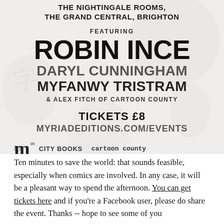[Figure (infographic): Event poster for a comics event at The Nightingale Rooms, The Grand Central, Brighton, featuring Robin Ince, Daryl Cunningham, Myfanwy Tristram, and Alex Fitch of Cartoon County. Tickets £8 at myriadeditions.com/events. Sponsored by Myriad Editions, City Books, and Cartoon County. Background shows faint illustrated imagery.]
Ten minutes to save the world: that sounds feasible, especially when comics are involved. In any case, it will be a pleasant way to spend the afternoon. You can get tickets here and if you're a Facebook user, please do share the event. Thanks -- hope to see some of you